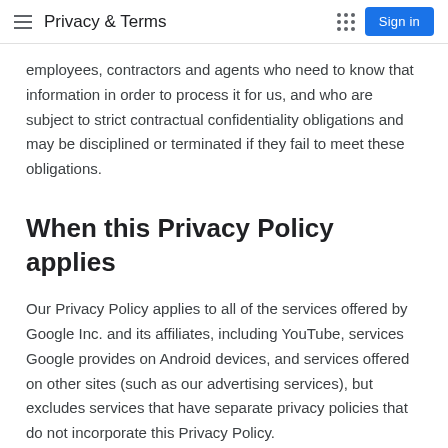Privacy & Terms
employees, contractors and agents who need to know that information in order to process it for us, and who are subject to strict contractual confidentiality obligations and may be disciplined or terminated if they fail to meet these obligations.
When this Privacy Policy applies
Our Privacy Policy applies to all of the services offered by Google Inc. and its affiliates, including YouTube, services Google provides on Android devices, and services offered on other sites (such as our advertising services), but excludes services that have separate privacy policies that do not incorporate this Privacy Policy.